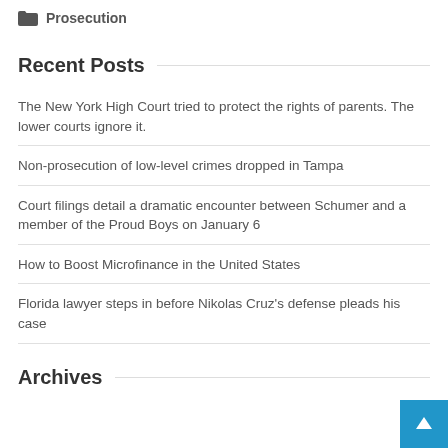Prosecution
Recent Posts
The New York High Court tried to protect the rights of parents. The lower courts ignore it.
Non-prosecution of low-level crimes dropped in Tampa
Court filings detail a dramatic encounter between Schumer and a member of the Proud Boys on January 6
How to Boost Microfinance in the United States
Florida lawyer steps in before Nikolas Cruz's defense pleads his case
Archives